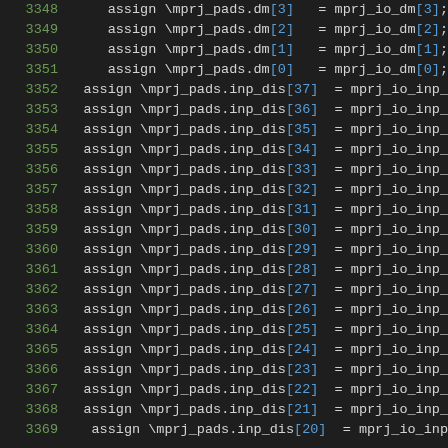3348    assign \mprj_pads.dm[3] = mprj_io_dm[3];
3349    assign \mprj_pads.dm[2] = mprj_io_dm[2];
3350    assign \mprj_pads.dm[1] = mprj_io_dm[1];
3351    assign \mprj_pads.dm[0] = mprj_io_dm[0];
3352    assign \mprj_pads.inp_dis[37] = mprj_io_inp_
3353    assign \mprj_pads.inp_dis[36] = mprj_io_inp_
3354    assign \mprj_pads.inp_dis[35] = mprj_io_inp_
3355    assign \mprj_pads.inp_dis[34] = mprj_io_inp_
3356    assign \mprj_pads.inp_dis[33] = mprj_io_inp_
3357    assign \mprj_pads.inp_dis[32] = mprj_io_inp_
3358    assign \mprj_pads.inp_dis[31] = mprj_io_inp_
3359    assign \mprj_pads.inp_dis[30] = mprj_io_inp_
3360    assign \mprj_pads.inp_dis[29] = mprj_io_inp_
3361    assign \mprj_pads.inp_dis[28] = mprj_io_inp_
3362    assign \mprj_pads.inp_dis[27] = mprj_io_inp_
3363    assign \mprj_pads.inp_dis[26] = mprj_io_inp_
3364    assign \mprj_pads.inp_dis[25] = mprj_io_inp_
3365    assign \mprj_pads.inp_dis[24] = mprj_io_inp_
3366    assign \mprj_pads.inp_dis[23] = mprj_io_inp_
3367    assign \mprj_pads.inp_dis[22] = mprj_io_inp_
3368    assign \mprj_pads.inp_dis[21] = mprj_io_inp_
3369    assign \mprj_pads.inp_dis[20] = mprj_io_inp